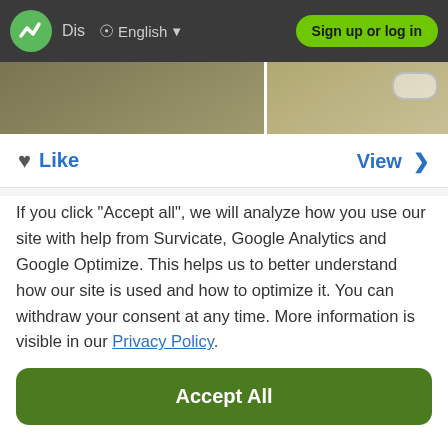[Figure (screenshot): Website navigation bar with logo, 'Dis' text, globe icon, 'English' language selector with dropdown arrow, and green 'Sign up or log in' button on dark background]
[Figure (photo): Partial landscape or map image strip showing earthy/sandy tones, split into two sections with a white border]
♥ Like
View >
If you click "Accept all", we will analyze how you use our site with help from Survicate, Google Analytics and Google Optimize. This helps us to better understand how our site is used and how to optimize it. You can withdraw your consent at any time. More information is visible in our Privacy Policy.
Accept All
Decline
Details